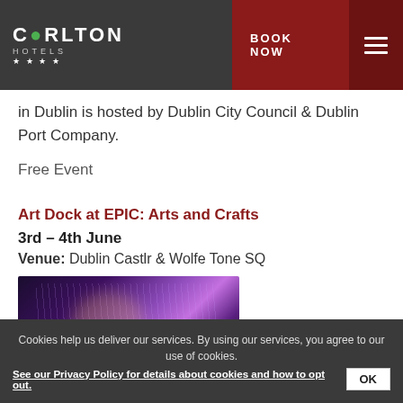Carlton Hotels — BOOK NOW [nav]
in Dublin is hosted by Dublin City Council & Dublin Port Company.
Free Event
Art Dock at EPIC: Arts and Crafts
3rd – 4th June
Venue: Dublin Castlr & Wolfe Tone SQ
[Figure (photo): Photo of an indoor arts installation with dramatic purple and golden lighting and light rays]
Cookies help us deliver our services. By using our services, you agree to our use of cookies. See our Privacy Policy for details about cookies and how to opt out. OK